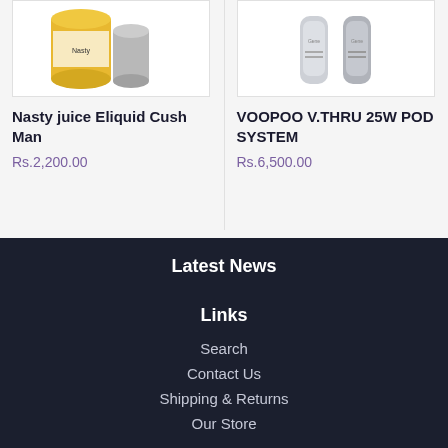[Figure (photo): Product image of Nasty juice Eliquid Cush Man - canned product on white background]
[Figure (photo): Product image of VOOPOO V.THRU 25W POD SYSTEM - grey pod device on white background]
Nasty juice Eliquid Cush Man
Rs.2,200.00
VOOPOO V.THRU 25W POD SYSTEM
Rs.6,500.00
Latest News
Links
Search
Contact Us
Shipping & Returns
Our Store